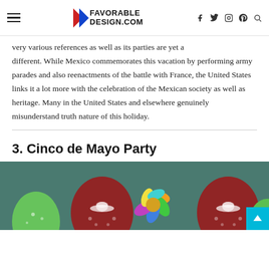FAVORABLE DESIGN.COM
very various references as well as its parties are yet a different. While Mexico commemorates this vacation by performing army parades and also reenactments of the battle with France, the United States links it a lot more with the celebration of the Mexican society as well as heritage. Many in the United States and elsewhere genuinely misunderstand truth nature of this holiday.
3. Cinco de Mayo Party
[Figure (photo): Colorful Cinco de Mayo party balloons including dark red balloons with sombrero prints and green balloons, with a rainbow colored decoration in the center, on a teal background.]